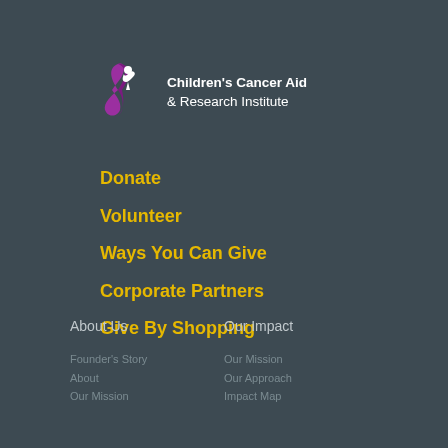[Figure (logo): Children's Cancer Aid & Research Institute logo with purple ribbon and white bird figure, white text]
Donate
Volunteer
Ways You Can Give
Corporate Partners
Give By Shopping
About Us
Our Impact
Founder's Story
About
Our Mission
Our Mission
Our Approach
Impact Map